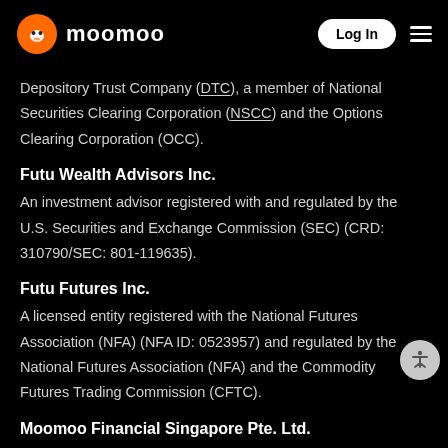moomoo | Log In
Depository Trust Company (DTC), a member of National Securities Clearing Corporation (NSCC) and the Options Clearing Corporation (OCC).
Futu Wealth Advisors Inc.
An investment advisor registered with and regulated by the U.S. Securities and Exchange Commission (SEC) (CRD: 310790/SEC: 801-119635).
Futu Futures Inc.
A licensed entity registered with the National Futures Association (NFA) (NFA ID: 0523957) and regulated by the National Futures Association (NFA) and the Commodity Futures Trading Commission (CFTC).
Moomoo Financial Singapore Pte. Ltd.
Registered with the Monetary Authority of Singapore (MAS),